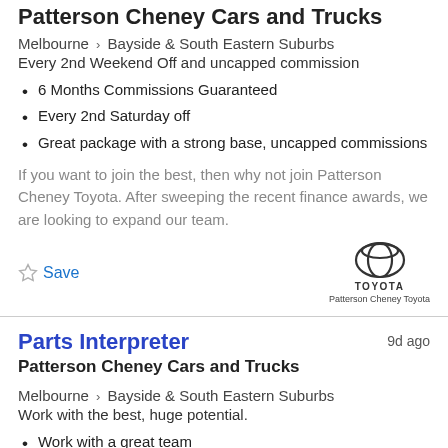Patterson Cheney Cars and Trucks
Melbourne > Bayside & South Eastern Suburbs
Every 2nd Weekend Off and uncapped commission
6 Months Commissions Guaranteed
Every 2nd Saturday off
Great package with a strong base, uncapped commissions
If you want to join the best, then why not join Patterson Cheney Toyota. After sweeping the recent finance awards, we are looking to expand our team.
[Figure (logo): Toyota logo with text Patterson Cheney Toyota]
Save
Parts Interpreter
9d ago
Patterson Cheney Cars and Trucks
Melbourne > Bayside & South Eastern Suburbs
Work with the best, huge potential.
Work with a great team